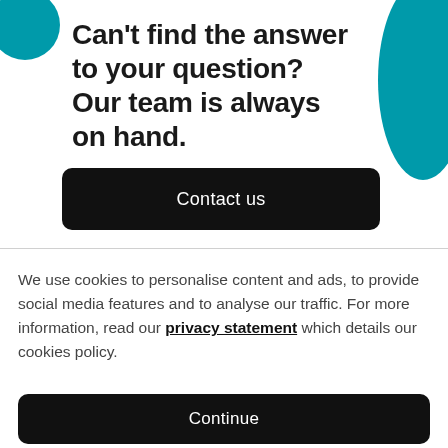Can't find the answer to your question? Our team is always on hand.
Contact us
We use cookies to personalise content and ads, to provide social media features and to analyse our traffic. For more information, read our privacy statement which details our cookies policy.
Continue